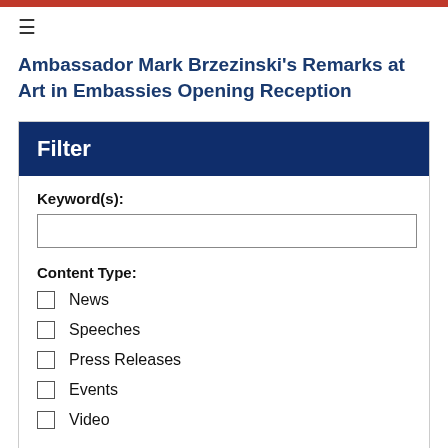Ambassador Mark Brzezinski's Remarks at Art in Embassies Opening Reception
Filter
Keyword(s):
Content Type:
News
Speeches
Press Releases
Events
Video